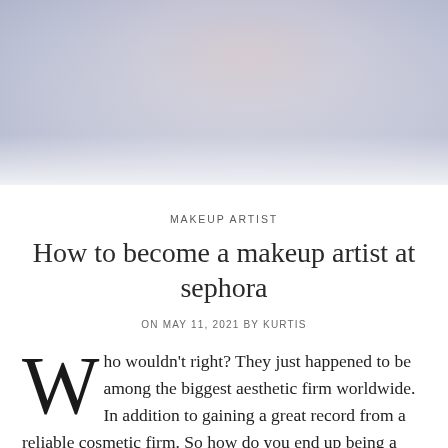[Figure (photo): Partial photo of a person in a soft white/grey knit sweater against a light blueish-grey background, cropped at the top of the page]
MAKEUP ARTIST
How to become a makeup artist at sephora
ON MAY 11, 2021 BY KURTIS
Who wouldn't right? They just happened to be among the biggest aesthetic firm worldwide. In addition to gaining a great record from a reliable cosmetic firm. So how do you end up being a make-up musician at Sephora? First obtain